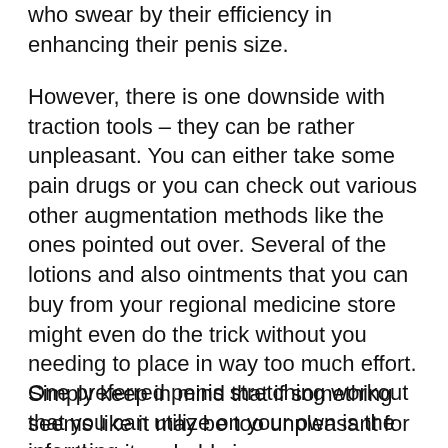who swear by their efficiency in enhancing their penis size.
However, there is one downside with traction tools – they can be rather unpleasant. You can either take some pain drugs or you can check out various other augmentation methods like the ones pointed out over. Several of the lotions and also ointments that you can buy from your regional medicine store might even do the trick without you needing to place in way too much effort. Simply keep in mind that if something seems like it may be too unpleasant for you, then it probably is.
One preferred penis stretching workout that you can utilize on your own is the informing.